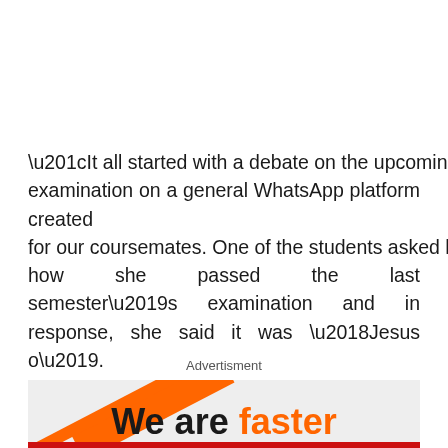“It all started with a debate on the upcoming examination on a general WhatsApp platform created for our coursemates. One of the students asked her how she passed the last semester’s examination and in response, she said it was ‘Jesus o’.
Advertisment
[Figure (illustration): Advertisement banner with orange diagonal slash marks on light grey background and text 'We are faster' in black and orange bold letters]